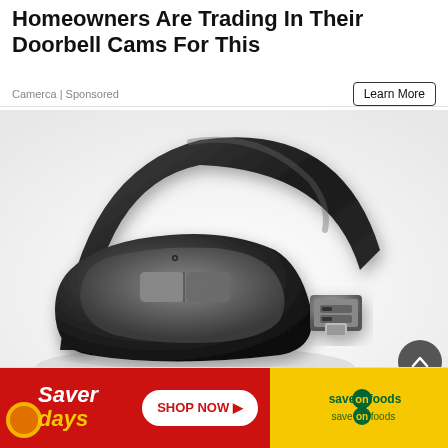Homeowners Are Trading In Their Doorbell Cams For This
Camerca | Sponsored
Learn More
[Figure (photo): A sleek dark gray and black wireless arc mouse shown folded/bent with a small USB receiver dongle placed nearby, on a white background.]
Goodbye Cell Phone, Hello VoIP (See Why
[Figure (photo): Saver Days advertisement banner for Save On Foods grocery store. Red section on left with 'Saver days' text, yellow section on right with 'save on foods' logo and 'SHOP NOW' button.]